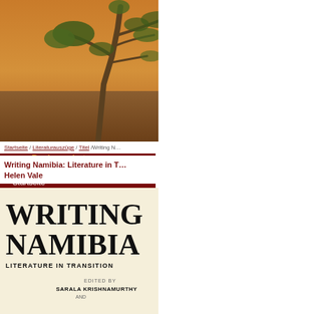[Figure (logo): Namibiana Buchdepot logo with oryx silhouette above text 'namibiana' and 'BUCHDEPOT']
zum Buchangebot
Startseite
Who is who
Lexikon
Reiseberichte
Geschichte, Politik & Gesellschaft
Literaturauszüge
Erinnerungen
Fundstücke
Kaufberatung
[Figure (photo): Landscape photo of African savanna with acacia tree branches against warm sky]
Startseite / Literaturauszüge / Titel /Writing N…
Writing Namibia: Literature in T… Helen Vale
[Figure (photo): Book cover of 'Writing Namibia: Literature in Transition' edited by Sarala Krishnamurthy and others, beige background with large bold text]